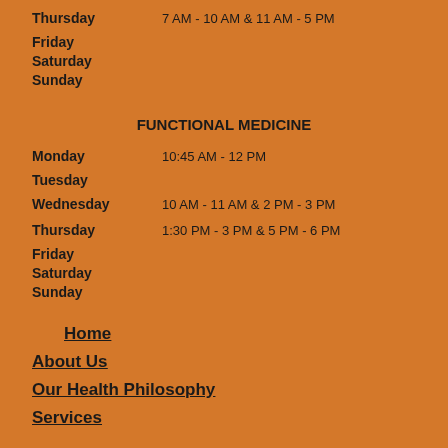Thursday   7 AM - 10 AM & 11 AM - 5 PM
Friday
Saturday
Sunday
FUNCTIONAL MEDICINE
Monday   10:45 AM - 12 PM
Tuesday
Wednesday   10 AM - 11 AM & 2 PM - 3 PM
Thursday   1:30 PM - 3 PM & 5 PM - 6 PM
Friday
Saturday
Sunday
Home
About Us
Our Health Philosophy
Services